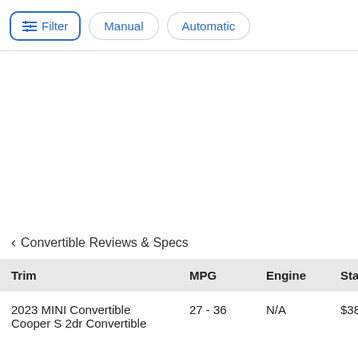Filter   Manual   Automatic
< Convertible Reviews & Specs
| Trim | MPG | Engine | Starting |
| --- | --- | --- | --- |
| 2023 MINI Convertible Cooper S 2dr Convertible | 27 - 36 | N/A | $38,15 |